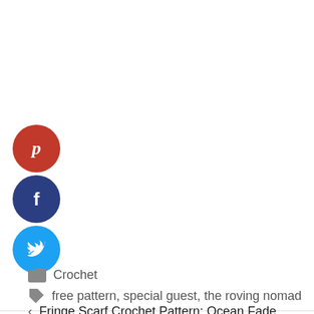[Figure (infographic): Three social media share buttons arranged vertically: Pinterest (red circle with P icon), Facebook (dark blue circle with f icon), Twitter (light blue circle with bird icon)]
Crochet
free pattern, special guest, the roving nomad
< Fringe Scarf Crochet Pattern: Ocean Fade
> Crochet Capelet Pattern: Polar Rush by Straight